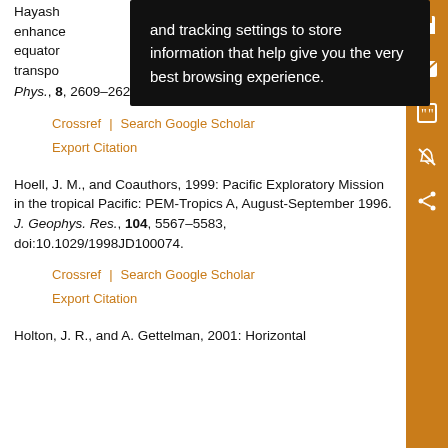Hayash... [partial, obscured by tooltip] Phys., 8, 2609–2621, doi:10.5194/acp-8-2609-2008.
Crossref | Search Google Scholar
Export Citation
Hoell, J. M., and Coauthors, 1999: Pacific Exploratory Mission in the tropical Pacific: PEM-Tropics A, August-September 1996. J. Geophys. Res., 104, 5567–5583, doi:10.1029/1998JD100074.
Crossref | Search Google Scholar
Export Citation
Holton, J. R., and A. Gettelman, 2001: Horizontal